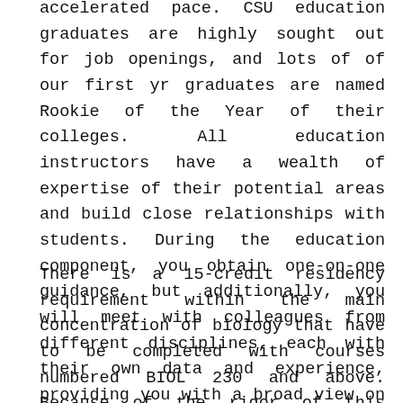accelerated pace. CSU education graduates are highly sought out for job openings, and lots of of our first yr graduates are named Rookie of the Year of their colleges. All education instructors have a wealth of expertise of their potential areas and build close relationships with students. During the education component, you obtain one-on-one guidance, but additionally, you will meet with colleagues from different disciplines, each with their own data and experience, providing you with a broad view on education.
There is a 15-credit residency requirement within the main concentration of biology that have to be completed with courses numbered BIOL 230 and above. Because of the rigor of this system a mixture of General Education courses and major-level courses is beneficial. Students should